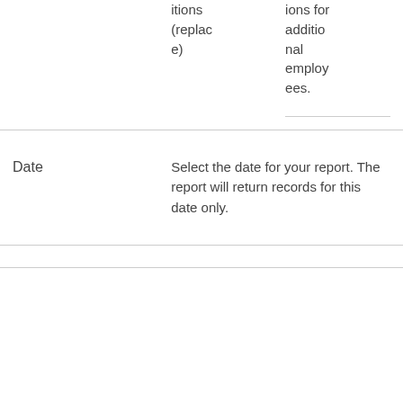| Field | Description |
| --- | --- |
|  | itions (replace)	| ions for additional employees. |
| Date | Select the date for your report. The report will return records for this date only. |
|  |  |